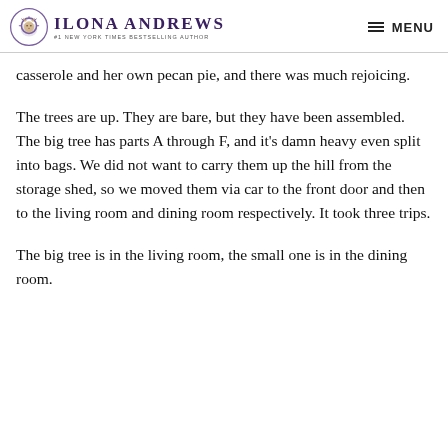Ilona Andrews — #1 New York Times Bestselling Author | MENU
casserole and her own pecan pie, and there was much rejoicing.
The trees are up. They are bare, but they have been assembled. The big tree has parts A through F, and it's damn heavy even split into bags. We did not want to carry them up the hill from the storage shed, so we moved them via car to the front door and then to the living room and dining room respectively. It took three trips.
The big tree is in the living room, the small one is in the dining room.